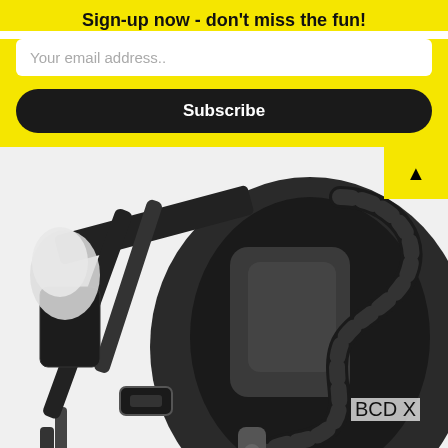Sign-up now - don't miss the fun!
Your email address..
Subscribe
[Figure (photo): Black scuba diving BCD (Buoyancy Compensator Device) with hoses, buckles, and integrated back plate shown in close-up detail]
BCD X
×